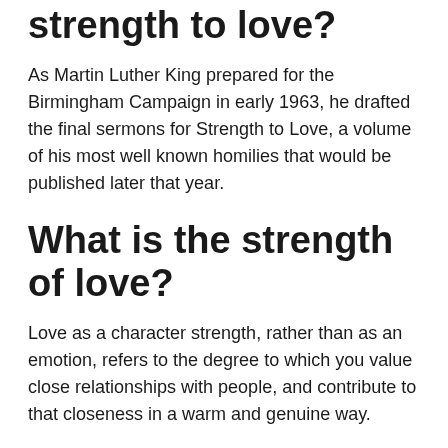strength to love?
As Martin Luther King prepared for the Birmingham Campaign in early 1963, he drafted the final sermons for Strength to Love, a volume of his most well known homilies that would be published later that year.
What is the strength of love?
Love as a character strength, rather than as an emotion, refers to the degree to which you value close relationships with people, and contribute to that closeness in a warm and genuine way.